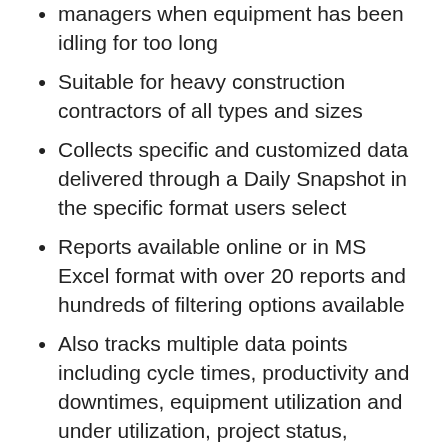managers when equipment has been idling for too long
Suitable for heavy construction contractors of all types and sizes
Collects specific and customized data delivered through a Daily Snapshot in the specific format users select
Reports available online or in MS Excel format with over 20 reports and hundreds of filtering options available
Also tracks multiple data points including cycle times, productivity and downtimes, equipment utilization and under utilization, project status, budgets, shop costs, rental expenses, trends and behaviors and more
Integrates with all major management programs including accounting, estimating, invoicing and